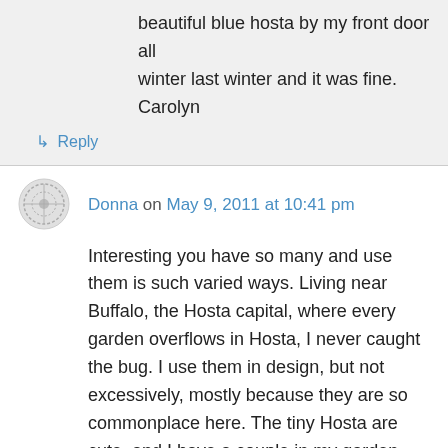beautiful blue hosta by my front door all winter last winter and it was fine. Carolyn
↳ Reply
Donna on May 9, 2011 at 10:41 pm
Interesting you have so many and use them is such varied ways. Living near Buffalo, the Hosta capital, where every garden overflows in Hosta, I never caught the bug. I use them in design, but not excessively, mostly because they are so commonplace here. The tiny Hosta are cute, and I have a couple in my garden, but again, really don't look at them a prized or collectable plant. They just grow too darn good here. You have a nice collection and I do it to see haw nice